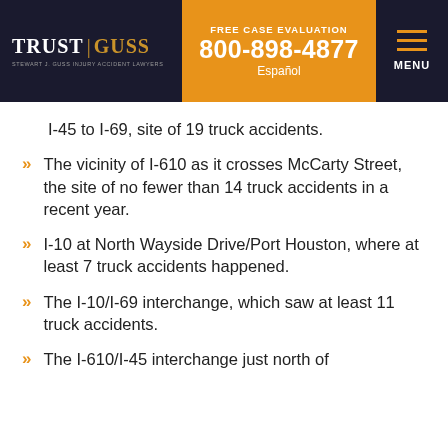TRUST | GUSS — STEWART J. GUSS INJURY ACCIDENT LAWYERS — FREE CASE EVALUATION 800-898-4877 Español — MENU
I-45 to I-69, site of 19 truck accidents.
The vicinity of I-610 as it crosses McCarty Street, the site of no fewer than 14 truck accidents in a recent year.
I-10 at North Wayside Drive/Port Houston, where at least 7 truck accidents happened.
The I-10/I-69 interchange, which saw at least 11 truck accidents.
The I-610/I-45 interchange just north of